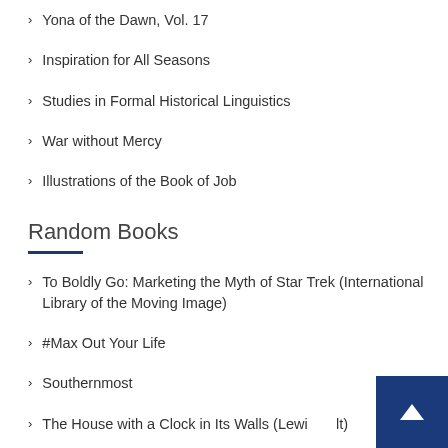Yona of the Dawn, Vol. 17
Inspiration for All Seasons
Studies in Formal Historical Linguistics
War without Mercy
Illustrations of the Book of Job
Random Books
To Boldly Go: Marketing the Myth of Star Trek (International Library of the Moving Image)
#Max Out Your Life
Southernmost
The House with a Clock in Its Walls (Lewi...lt)